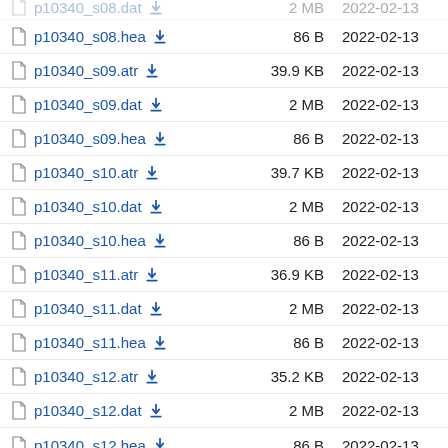p10340_s08.dat  2 MB  2022-02-13
p10340_s08.hea  86 B  2022-02-13
p10340_s09.atr  39.9 KB  2022-02-13
p10340_s09.dat  2 MB  2022-02-13
p10340_s09.hea  86 B  2022-02-13
p10340_s10.atr  39.7 KB  2022-02-13
p10340_s10.dat  2 MB  2022-02-13
p10340_s10.hea  86 B  2022-02-13
p10340_s11.atr  36.9 KB  2022-02-13
p10340_s11.dat  2 MB  2022-02-13
p10340_s11.hea  86 B  2022-02-13
p10340_s12.atr  35.2 KB  2022-02-13
p10340_s12.dat  2 MB  2022-02-13
p10340_s12.hea  86 B  2022-02-13